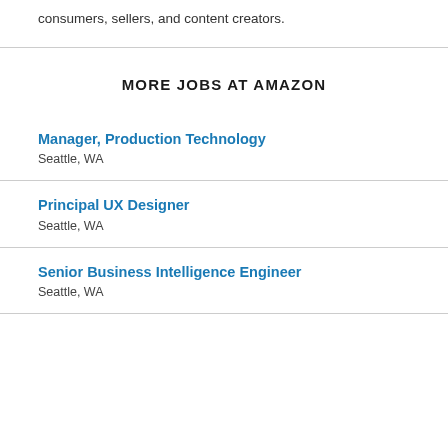consumers, sellers, and content creators.
MORE JOBS AT AMAZON
Manager, Production Technology
Seattle, WA
Principal UX Designer
Seattle, WA
Senior Business Intelligence Engineer
Seattle, WA